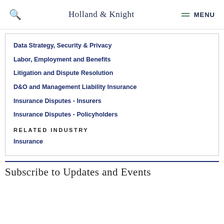Holland & Knight  MENU
Data Strategy, Security & Privacy
Labor, Employment and Benefits
Litigation and Dispute Resolution
D&O and Management Liability Insurance
Insurance Disputes - Insurers
Insurance Disputes - Policyholders
RELATED INDUSTRY
Insurance
Subscribe to Updates and Events